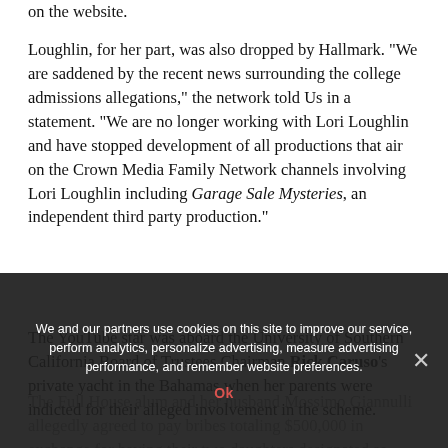on the website.
Loughlin, for her part, was also dropped by Hallmark. "We are saddened by the recent news surrounding the college admissions allegations," the network told Us in a statement. "We are no longer working with Lori Loughlin and have stopped development of all productions that air on the Crown Media Family Network channels involving Lori Loughlin including Garage Sale Mysteries, an independent third party production."
The YouTube star was aboard the University of Southern California Board of Trustees Chairman Rick Caruso's private yacht in the Bahamas when her parents were indicted for their alleged involvement in the scheme.
The Full House alum and her husband Mossimo Giannulli allegedly agreed to pay bribes totaling $500,000 in exchange for having their two daughters designated as recruits to the USC crew team — despite the fact that they
We and our partners use cookies on this site to improve our service, perform analytics, personalize advertising, measure advertising performance, and remember website preferences.